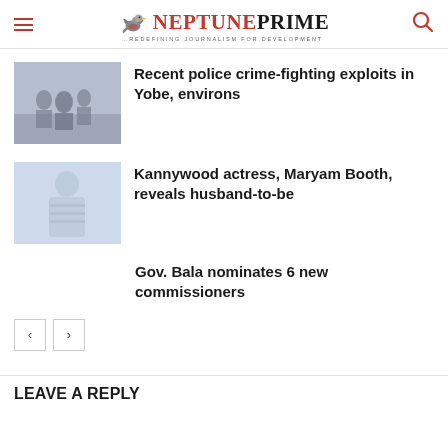NEPTUNE PRIME – Redefining Journalism for Development
[Figure (photo): Thumbnail photo related to police crime-fighting in Yobe]
Recent police crime-fighting exploits in Yobe, environs
[Figure (photo): Thumbnail photo of Kannywood actress Maryam Booth]
Kannywood actress, Maryam Booth, reveals husband-to-be
Gov. Bala nominates 6 new commissioners
< >
LEAVE A REPLY